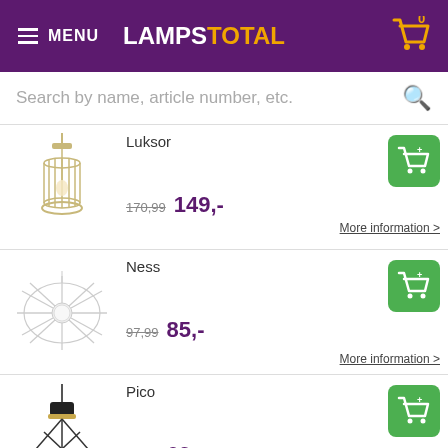≡ MENU  LAMPSTOTAL  [cart icon: 0]
Search by name, article number, etc.
Luksor
170,99  149,-  More information >
Ness
97,99  85,-  More information >
Pico
78,99  69,-  More information >